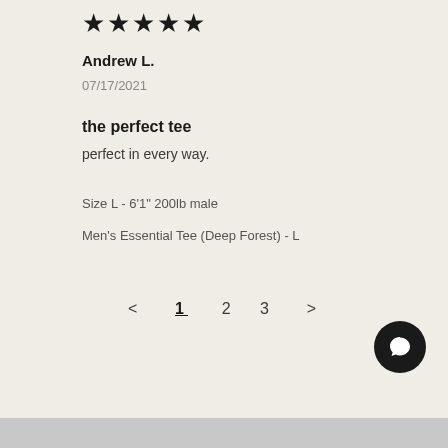★★★★★
Andrew L.
07/17/2021
the perfect tee
perfect in every way.
Size L - 6'1" 200lb male
Men's Essential Tee (Deep Forest) - L
< 1 2 3 >
[Figure (other): Chat button icon — dark circular button with speech bubble icon]